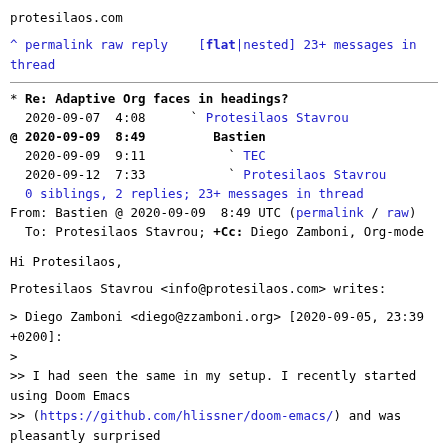protesilaos.com
^ permalink raw reply    [flat|nested] 23+ messages in thread
* Re: Adaptive Org faces in headings?
  2020-09-07  4:08      ` Protesilaos Stavrou
@ 2020-09-09  8:49        Bastien
  2020-09-09  9:11          ` TEC
  2020-09-12  7:33          ` Protesilaos Stavrou
  0 siblings, 2 replies; 23+ messages in thread
From: Bastien @ 2020-09-09  8:49 UTC (permalink / raw)
  To: Protesilaos Stavrou; +Cc: Diego Zamboni, Org-mode
Hi Protesilaos,
Protesilaos Stavrou <info@protesilaos.com> writes:
> Diego Zamboni <diego@zzamboni.org> [2020-09-05, 23:39
+0200]:
>
>> I had seen the same in my setup. I recently started
using Doom Emacs
>> (https://github.com/hlissner/doom-emacs/) and was
pleasantly surprised
>> to discover that todo and tag faces scale according
to the headline in
>> which they are. I don't know precisely how this is